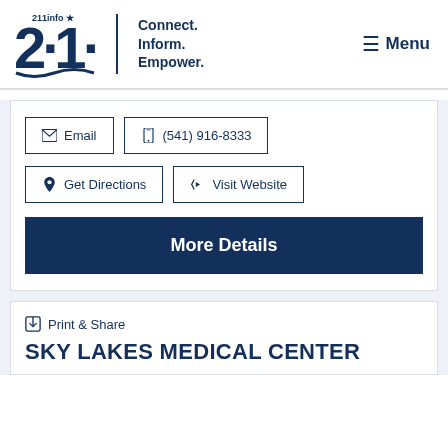[Figure (logo): 211info logo with tagline Connect. Inform. Empower. and Menu button]
Email
(541) 916-8333
Get Directions
Visit Website
More Details
Print & Share
SKY LAKES MEDICAL CENTER